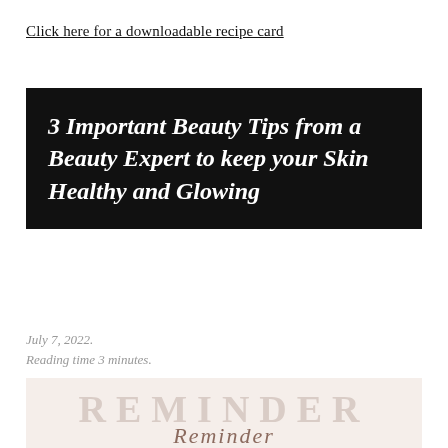Click here for a downloadable recipe card
3 Important Beauty Tips from a Beauty Expert to keep your Skin Healthy and Glowing
July 7, 2022.
Reading time 3 minutes.
[Figure (illustration): Reminder graphic with large light text 'REMINDER' and cursive script 'Reminder' below on a pale pinkish-beige background]